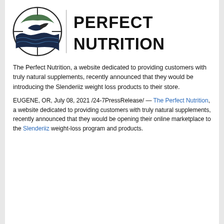[Figure (logo): Perfect Nutrition logo: circular emblem with fish/nature design on left, and bold text 'PERFECT NUTRITION' on right]
The Perfect Nutrition, a website dedicated to providing customers with truly natural supplements, recently announced that they would be introducing the Slenderiiz weight loss products to their store.
EUGENE, OR, July 08, 2021 /24-7PressRelease/ — The Perfect Nutrition, a website dedicated to providing customers with truly natural supplements, recently announced that they would be opening their online marketplace to the Slenderiiz weight-loss program and products.